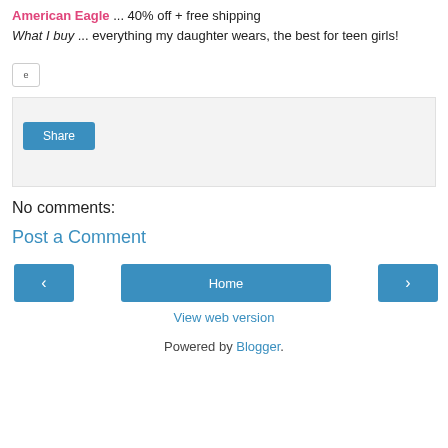American Eagle ... 40% off + free shipping What I buy ... everything my daughter wears, the best for teen girls!
[Figure (other): Small square button icon]
[Figure (other): Share box with light gray background and a Share button]
No comments:
Post a Comment
< Home >
View web version
Powered by Blogger.